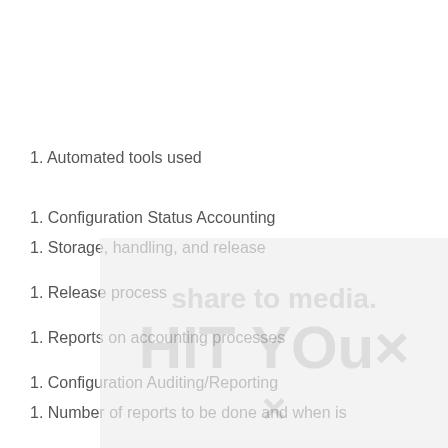1. Automated tools used
1. Configuration Status Accounting
1. Storage, handling, and release
1. Release process
1. Reports on accounting processes
1. Configuration Auditing/Reporting
1. Number of reports to be done and when is